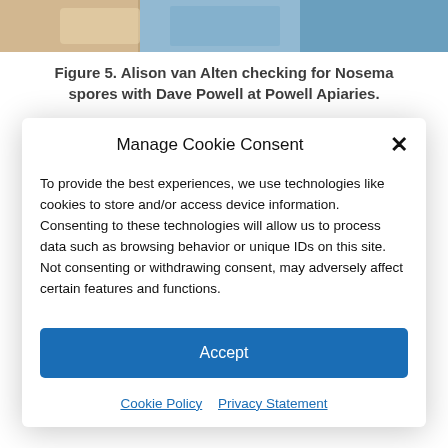[Figure (photo): Partial photo strip at top of page, showing people working at an apiary]
Figure 5. Alison van Alten checking for Nosema spores with Dave Powell at Powell Apiaries.
I'm proud to announce that after our years of exploration, funded by the University of Minnesota, the National Honey Board, the Almond Board of California, and the USDA Managed Pollinator CAP we now have a Bee
Manage Cookie Consent
To provide the best experiences, we use technologies like cookies to store and/or access device information. Consenting to these technologies will allow us to process data such as browsing behavior or unique IDs on this site. Not consenting or withdrawing consent, may adversely affect certain features and functions.
Accept
Cookie Policy   Privacy Statement